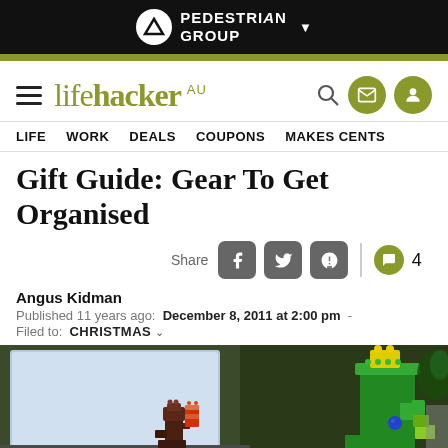PEDESTRIAN GROUP
lifehacker AU — LIFE  WORK  DEALS  COUPONS  MAKES CENTS
Gift Guide: Gear To Get Organised
Share  4
Angus Kidman
Published 11 years ago:  December 8, 2011 at 2:00 pm  -  Filed to:  CHRISTMAS
[Figure (photo): Photo of LEGO bricks arranged on a desk next to what appears to be a laptop or monitor. Colourful LEGO constructions including green, yellow, red and orange bricks are visible.]